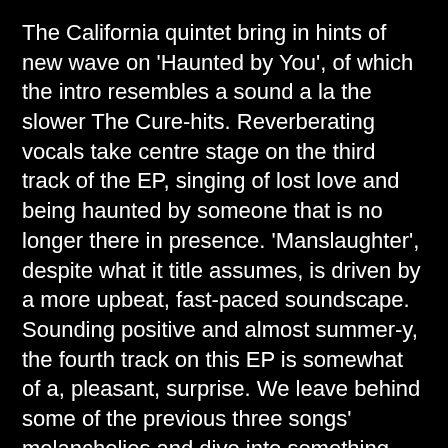The California quintet bring in hints of new wave on 'Haunted by You', of which the intro resembles a sound a la the slower The Cure-hits. Reverberating vocals take centre stage on the third track of the EP, singing of lost love and being haunted by someone that is no longer there in presence. 'Manslaughter', despite what it title assumes, is driven by a more upbeat, fast-paced soundscape. Sounding positive and almost summer-y, the fourth track on this EP is somewhat of a, pleasant, surprise. We leave behind some of the previous three songs' melancholies and dive into something more pleased sounding and building strongly on the bands' surf pop influences.
The uplifting vibes of the fourth single stay with us for the closer of the EP, 'Fell for You' and in a